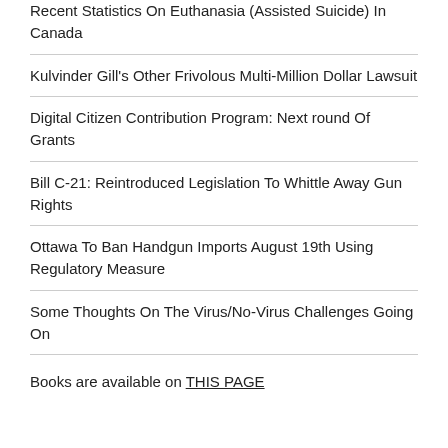Recent Statistics On Euthanasia (Assisted Suicide) In Canada
Kulvinder Gill's Other Frivolous Multi-Million Dollar Lawsuit
Digital Citizen Contribution Program: Next round Of Grants
Bill C-21: Reintroduced Legislation To Whittle Away Gun Rights
Ottawa To Ban Handgun Imports August 19th Using Regulatory Measure
Some Thoughts On The Virus/No-Virus Challenges Going On
Books are available on THIS PAGE